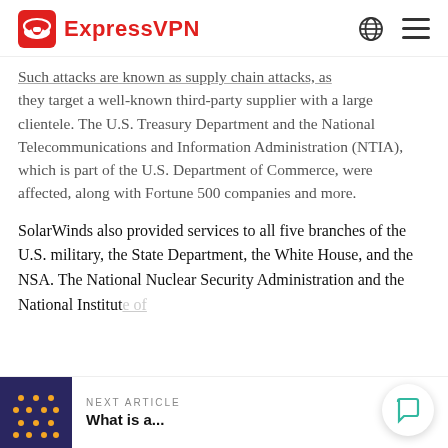ExpressVPN
Such attacks are known as supply chain attacks, as they target a well-known third-party supplier with a large clientele. The U.S. Treasury Department and the National Telecommunications and Information Administration (NTIA), which is part of the U.S. Department of Commerce, were affected, along with Fortune 500 companies and more.
SolarWinds also provided services to all five branches of the U.S. military, the State Department, the White House, and the NSA. The National Nuclear Security Administration and the National Institute of
NEXT ARTICLE
What is a...